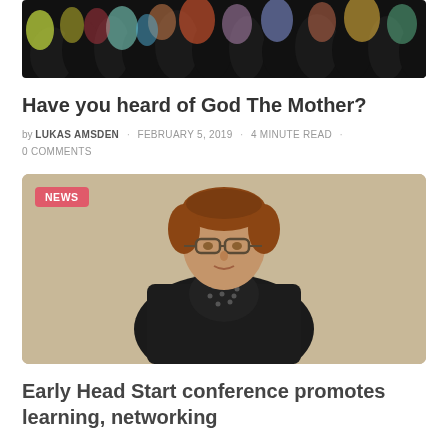[Figure (photo): Top portion of a colorful crowd silhouette artwork with yellow, teal, orange, and black tones]
Have you heard of God The Mother?
by LUKAS AMSDEN · FEBRUARY 5, 2019 · 4 MINUTE READ · 0 COMMENTS
[Figure (photo): Photo of a middle-aged woman with short reddish-brown hair and glasses, wearing a black blazer with a polka-dot scarf, speaking at a conference in front of a beige wall. A NEWS badge is overlaid in the upper left corner.]
Early Head Start conference promotes learning, networking